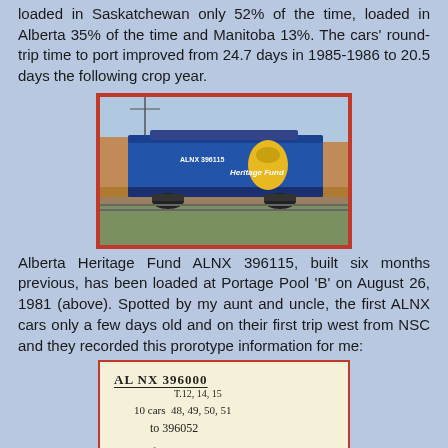loaded in Saskatchewan only 52% of the time, loaded in Alberta 35% of the time and Manitoba 13%. The cars' round-trip time to port improved from 24.7 days in 1985-1986 to 20.5 days the following crop year.
[Figure (photo): A blue railway grain hopper car labeled 'Heritage Fund' on the side, photographed outdoors on a track with other rail cars visible in the background.]
Alberta Heritage Fund ALNX 396115, built six months previous, has been loaded at Portage Pool 'B' on August 26, 1981 (above). Spotted by my aunt and uncle, the first ALNX cars only a few days old and on their first trip west from NSC and they recorded this prorotype information for me:
[Figure (photo): Handwritten note on pale yellow paper reading: AL NX 396000, T.12,14,15, 10 cars 48,49,50,51, to 396052, Heritagefund Feb 6/81, Nov 2 81 ... rbt]